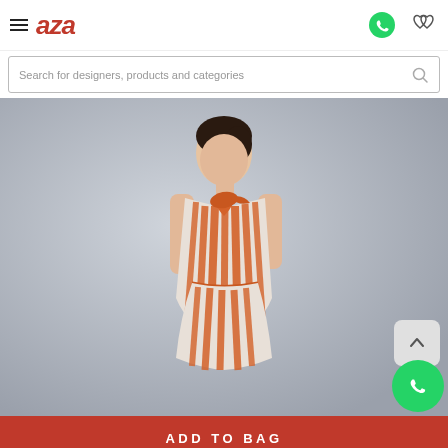[Figure (logo): AZA fashion brand logo in red italic text]
Search for designers, products and categories
[Figure (photo): Woman wearing an orange and white striped sleeveless halter dress with a tied neckline, posed against a light grey background]
ADD TO BAG